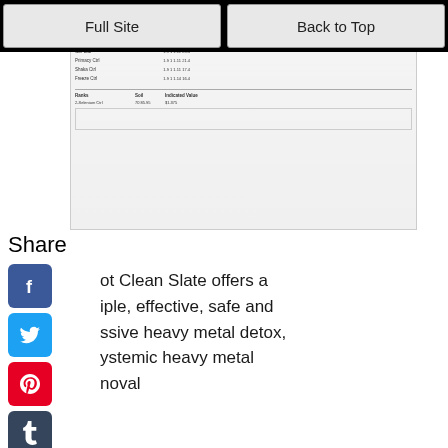Full Site | Back to Top
[Figure (screenshot): Thumbnail screenshot of a document showing a colored bar chart/table with green-to-red gradient bars indicating heavy metal test results]
Share
[Figure (other): Social share icons column: Facebook, Twitter, Pinterest, Tumblr, Reddit, WhatsApp]
ot Clean Slate offers a iple, effective, safe and ssive heavy metal detox, ystemic heavy metal noval
Read More
Beaufort House Chelsea
Mar 15, 18 07:47 AM
[Figure (logo): Beaufort House logo on black background with white bird icon and cursive Beaufort House text]